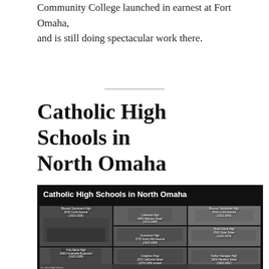Community College launched in earnest at Fort Omaha, and is still doing spectacular work there.
Catholic High Schools in North Omaha
[Figure (infographic): Collage of black-and-white photographs of Catholic High Schools in North Omaha, including Blessed Sacrament High 3018 Curtis Avenue (1923-1956), Cathedral High 4400 Webster Street (1919-1968), Holy Name High 2909 Fontenelle Boulevard (1922-1989), Dominican High 3725 North 24th Avenue (1953-1968), Notre Dame High 3500 State Street (1922-1974), Creighton Prep 2510 California Street (1878-1958 moved), Father Flanagan High 3603 Hamilton Street (1963-1991), St. John High School, with white title text on black background.]